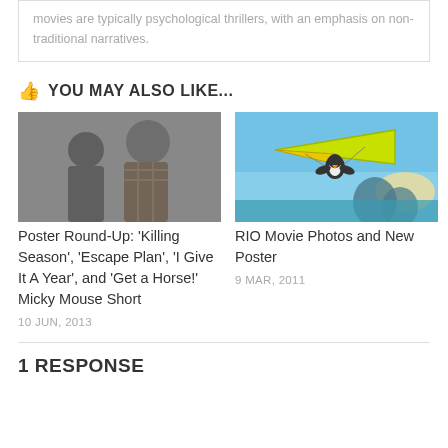movies are typically psychological thrillers, with an emphasis on non-traditional narratives.
YOU MAY ALSO LIKE...
[Figure (photo): Two men standing together, one wearing a black beanie hat and a gray shirt, the other in a plaid flannel shirt — movie promotional image]
[Figure (photo): Animated bird (penguin) hang gliding with a yellow/green hang glider over a scenic coastal landscape — Rio movie promotional image]
Poster Round-Up: 'Killing Season', 'Escape Plan', 'I Give It A Year', and 'Get a Horse!' Micky Mouse Short
10 JUN, 2013
RIO Movie Photos and New Poster
9 MAR, 2011
1 RESPONSE